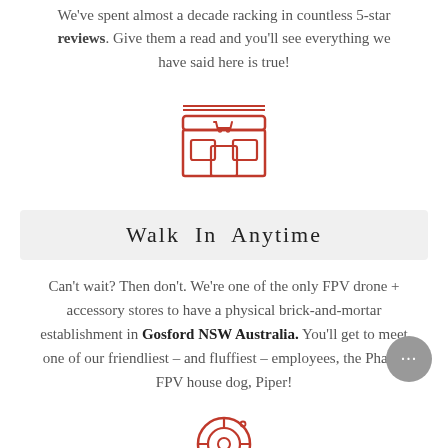We've spent almost a decade racking in countless 5-star reviews. Give them a read and you'll see everything we have said here is true!
[Figure (illustration): Red outline icon of a storefront/shop building with a shopping cart symbol on the sign]
Walk In Anytime
Can't wait? Then don't. We're one of the only FPV drone + accessory stores to have a physical brick-and-mortar establishment in Gosford NSW Australia. You'll get to meet one of our friendliest – and fluffiest – employees, the Phaser FPV house dog, Piper!
[Figure (illustration): Red outline target/crosshair icon (partially visible at bottom)]